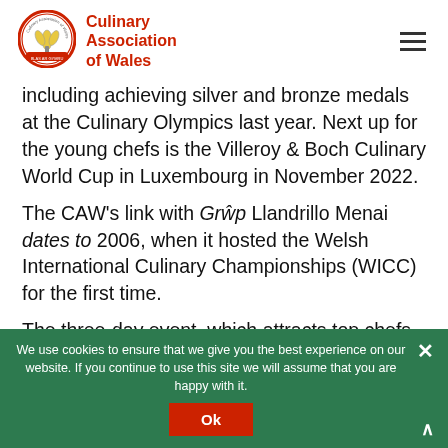[Figure (logo): Culinary Association of Wales circular logo with plant/wheat design, red border]
Culinary Association of Wales
including achieving silver and bronze medals at the Culinary Olympics last year. Next up for the young chefs is the Villeroy & Boch Culinary World Cup in Luxembourg in November 2022.
The CAW's link with Grŵp Llandrillo Menai dates to 2006, when it hosted the Welsh International Culinary Championships (WICC) for the first time.
The three-day event, which attracts top chefs from across the UK and around the world, is now a firmly established fixture at the college and is due to be held from February 22–24, next year.
We use cookies to ensure that we give you the best experience on our website. If you continue to use this site we will assume that you are happy with it.